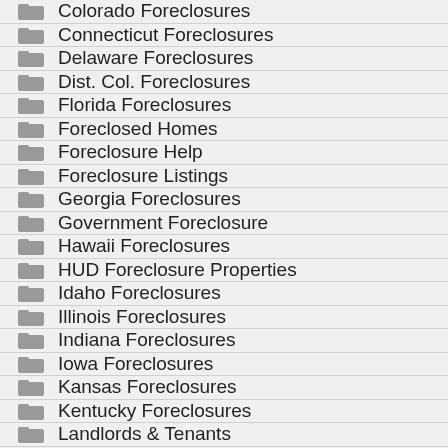Colorado Foreclosures
Connecticut Foreclosures
Delaware Foreclosures
Dist. Col. Foreclosures
Florida Foreclosures
Foreclosed Homes
Foreclosure Help
Foreclosure Listings
Georgia Foreclosures
Government Foreclosure
Hawaii Foreclosures
HUD Foreclosure Properties
Idaho Foreclosures
Illinois Foreclosures
Indiana Foreclosures
Iowa Foreclosures
Kansas Foreclosures
Kentucky Foreclosures
Landlords & Tenants